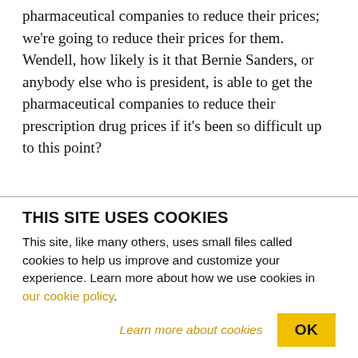pharmaceutical companies to reduce their prices; we're going to reduce their prices for them. Wendell, how likely is it that Bernie Sanders, or anybody else who is president, is able to get the pharmaceutical companies to reduce their prescription drug prices if it's been so difficult up to this point?
WENDELL POTTER It's going to take, kind of, a sea change. Certainly, the current leadership in Washington is not going to make this happen. Bernie Sanders does have some solid and bold ideas. He
THIS SITE USES COOKIES
This site, like many others, uses small files called cookies to help us improve and customize your experience. Learn more about how we use cookies in our cookie policy.
Learn more about cookies
OK